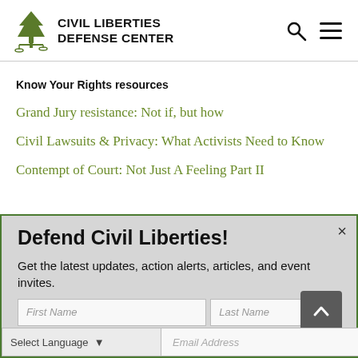CIVIL LIBERTIES DEFENSE CENTER
Know Your Rights resources
Grand Jury resistance: Not if, but how
Civil Lawsuits & Privacy: What Activists Need to Know
Contempt of Court: Not Just A Feeling Part II
Defend Civil Liberties!
Get the latest updates, action alerts, articles, and event invites.
First Name | Last Name
Select Language
Email Address